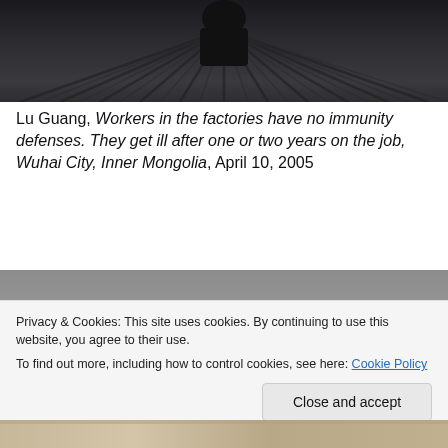[Figure (photo): Dark industrial photograph showing a worker or figure surrounded by metal rods or scaffolding in a factory or industrial setting]
Lu Guang, Workers in the factories have no immunity defenses. They get ill after one or two years on the job, Wuhai City, Inner Mongolia, April 10, 2005
[Figure (photo): Photograph with grey background showing a brown rocky or sculptural object against a neutral grey backdrop]
Privacy & Cookies: This site uses cookies. By continuing to use this website, you agree to their use.
To find out more, including how to control cookies, see here: Cookie Policy
[Figure (photo): Bottom partial photograph showing sandy or rocky textured ground]